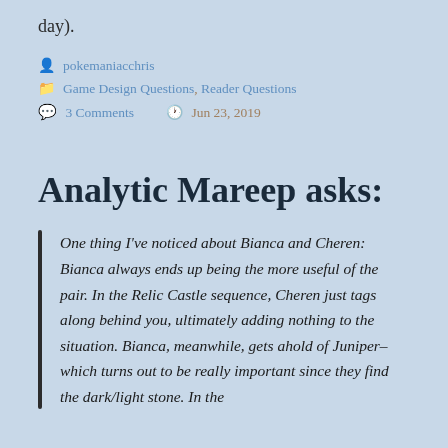day).
pokemaniacchris
Game Design Questions, Reader Questions
3 Comments   Jun 23, 2019
Analytic Mareep asks:
One thing I've noticed about Bianca and Cheren: Bianca always ends up being the more useful of the pair. In the Relic Castle sequence, Cheren just tags along behind you, ultimately adding nothing to the situation. Bianca, meanwhile, gets ahold of Juniper–which turns out to be really important since they find the dark/light stone. In the